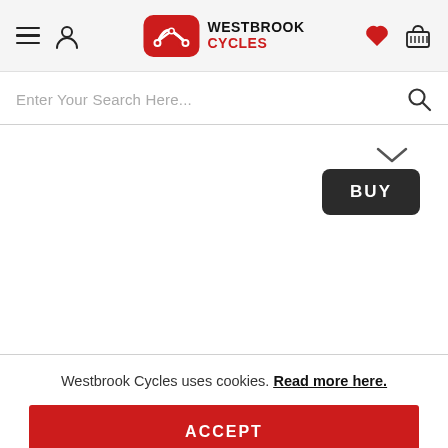Westbrook Cycles navigation header with hamburger menu, user icon, logo, heart icon, and basket icon
Enter Your Search Here...
[Figure (screenshot): BUY button with dropdown chevron in dark rounded rectangle]
Westbrook Cycles uses cookies. Read more here.
ACCEPT